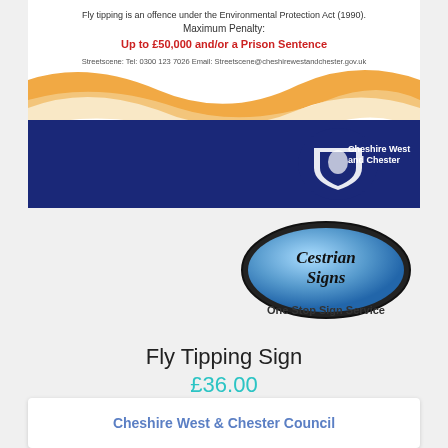[Figure (illustration): Fly tipping sign from Cheshire West and Chester Council showing maximum penalty text 'Up to £50,000 and/or a Prison Sentence' in red, contact details, orange wave graphic, and Cheshire West and Chester logo in dark blue]
[Figure (logo): Cestrian Signs logo — oval shape with blue gradient interior, black border, text 'Cestrian Signs' in black serif font and 'One Stop Sign Service' below in dark text]
Fly Tipping Sign
£36.00
Cheshire West & Chester Council